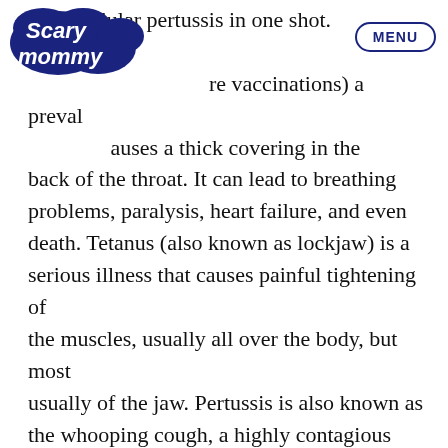Scary Mommy | MENU
and acellular pertussis in one shot. Diphtheria (before vaccinations) a prevalent causes a thick covering in the back of the throat. It can lead to breathing problems, paralysis, heart failure, and even death. Tetanus (also known as lockjaw) is a serious illness that causes painful tightening of the muscles, usually all over the body, but most usually of the jaw. Pertussis is also known as the whooping cough, a highly contagious respiratory tract infection, particularly serious in infants. When should your baby get it? Your baby will receive 5 doses of the DTaP vaccine. The first at 2 months, the second at 4 months, the third at 6 months, the fourth between 15